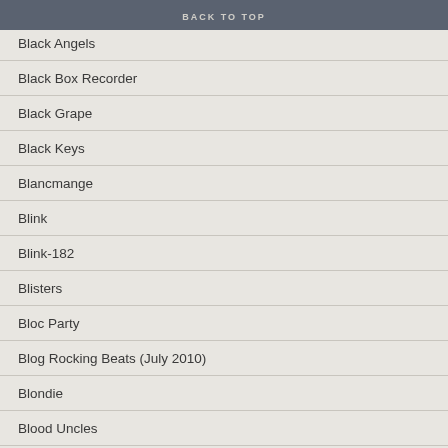BACK TO TOP
Black Angels
Black Box Recorder
Black Grape
Black Keys
Blancmange
Blink
Blink-182
Blisters
Bloc Party
Blog Rocking Beats (July 2010)
Blondie
Blood Uncles
Bloomsday